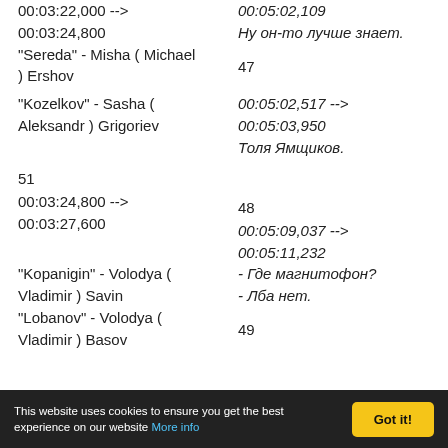00:03:22,000 -->
00:05:02,109
00:03:24,800
Ну он-то лучше знает.
"Sereda" - Misha ( Michael ) Ershov
47
"Kozelkov" - Sasha ( Aleksandr ) Grigoriev
00:05:02,517 -->
00:05:03,950
Толя Ямщиков.
51
48
00:03:24,800 -->
00:05:09,037 -->
00:03:27,600
00:05:11,232
"Kopanigin" - Volodya ( Vladimir ) Savin
- Где магнитофон?
"Lobanov" - Volodya ( Vladimir ) Basov
- Лба нет.
49
This website uses cookies to ensure you get the best experience on our website More info